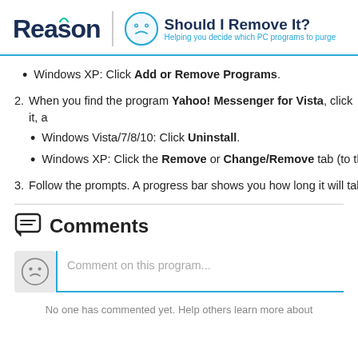Reason | Should I Remove It? Helping you decide which PC programs to purge
Windows XP: Click Add or Remove Programs.
2. When you find the program Yahoo! Messenger for Vista, click it, a
Windows Vista/7/8/10: Click Uninstall.
Windows XP: Click the Remove or Change/Remove tab (to the r
3. Follow the prompts. A progress bar shows you how long it will tak
Comments
Comment on this program...
No one has commented yet. Help others learn more about